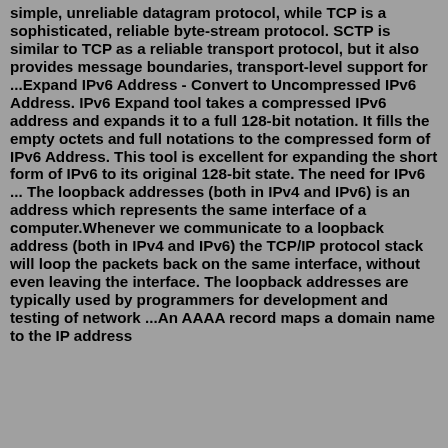simple, unreliable datagram protocol, while TCP is a sophisticated, reliable byte-stream protocol. SCTP is similar to TCP as a reliable transport protocol, but it also provides message boundaries, transport-level support for ...Expand IPv6 Address - Convert to Uncompressed IPv6 Address. IPv6 Expand tool takes a compressed IPv6 address and expands it to a full 128-bit notation. It fills the empty octets and full notations to the compressed form of IPv6 Address. This tool is excellent for expanding the short form of IPv6 to its original 128-bit state. The need for IPv6 ... The loopback addresses (both in IPv4 and IPv6) is an address which represents the same interface of a computer.Whenever we communicate to a loopback address (both in IPv4 and IPv6) the TCP/IP protocol stack will loop the packets back on the same interface, without even leaving the interface. The loopback addresses are typically used by programmers for development and testing of network ...An AAAA record maps a domain name to the IP address